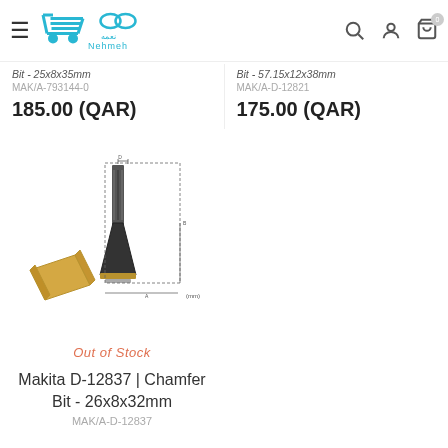Nehmeh (logo/navigation header)
Bit - 25x8x35mm
MAK/A-793144-0
185.00 (QAR)
Bit - 57.15x12x38mm
MAK/A-D-12821
175.00 (QAR)
[Figure (engineering-diagram): Technical diagram of a chamfer router bit showing side profile with dimensional reference lines, alongside a wood piece showing the chamfer cut result. Black and gold bit illustration with (mm) label.]
Out of Stock
Makita D-12837 | Chamfer Bit - 26x8x32mm
MAK/A-D-12837